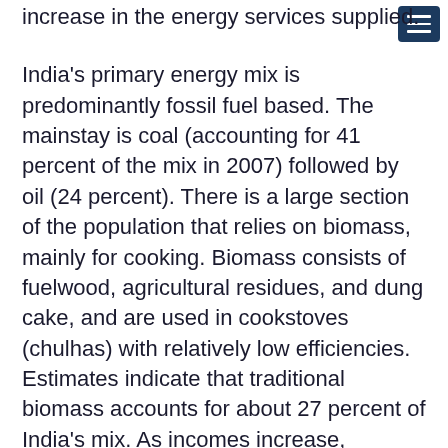increase in the energy services supplied.
India's primary energy mix is predominantly fossil fuel based. The mainstay is coal (accounting for 41 percent of the mix in 2007) followed by oil (24 percent). There is a large section of the population that relies on biomass, mainly for cooking. Biomass consists of fuelwood, agricultural residues, and dung cake, and are used in cookstoves (chulhas) with relatively low efficiencies. Estimates indicate that traditional biomass accounts for about 27 percent of India's mix. As incomes increase, households switch from biomass to more convenient fuels like kerosene and LPG. Notice that as incomes are...